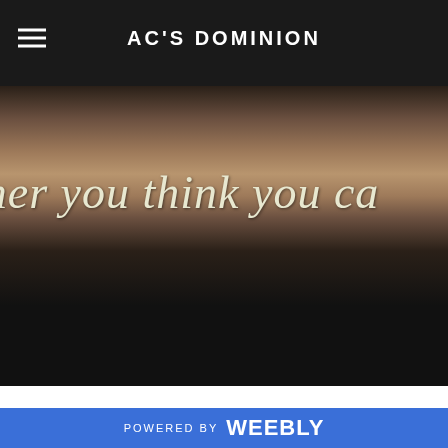AC'S DOMINION
[Figure (photo): A close-up photo of a decorative sign or book spine with italic text reading '...ther you think you ca...' on a warm brown/sepia textured background, partially cut off on both sides. The lower portion fades to dark/black.]
POWERED BY weebly